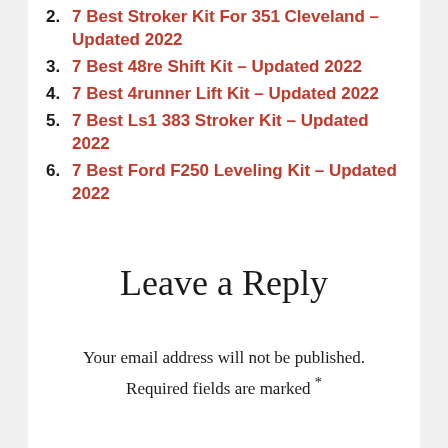2. 7 Best Stroker Kit For 351 Cleveland – Updated 2022
3. 7 Best 48re Shift Kit – Updated 2022
4. 7 Best 4runner Lift Kit – Updated 2022
5. 7 Best Ls1 383 Stroker Kit – Updated 2022
6. 7 Best Ford F250 Leveling Kit – Updated 2022
Leave a Reply
Your email address will not be published. Required fields are marked *